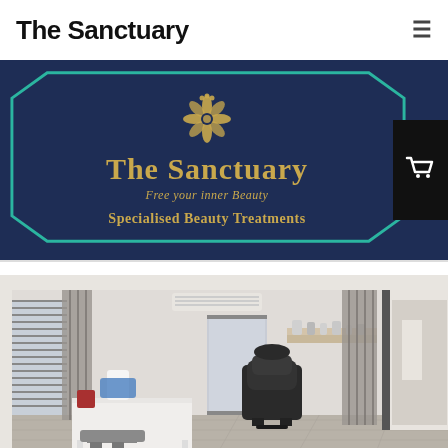The Sanctuary
[Figure (logo): The Sanctuary beauty salon logo on dark navy background with teal octagonal frame border. Shows a gold floral/leaf ornament, 'The Sanctuary' in gold serif font, 'Free your inner Beauty' italic tagline, and 'Specialised Beauty Treatments' in gold bold text.]
[Figure (photo): Interior photo of The Sanctuary beauty salon treatment room showing white walls, grey draped curtains, a black treatment chair, a white desk/table in the foreground, wood-look flooring, shelving on the wall, and a doorway to a hallway.]